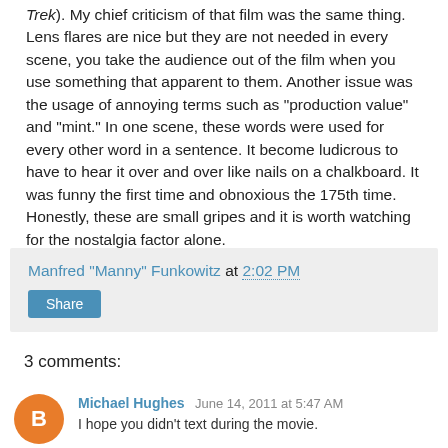Trek). My chief criticism of that film was the same thing. Lens flares are nice but they are not needed in every scene, you take the audience out of the film when you use something that apparent to them. Another issue was the usage of annoying terms such as "production value" and "mint." In one scene, these words were used for every other word in a sentence. It become ludicrous to have to hear it over and over like nails on a chalkboard. It was funny the first time and obnoxious the 175th time. Honestly, these are small gripes and it is worth watching for the nostalgia factor alone.
Manfred "Manny" Funkowitz at 2:02 PM
Share
3 comments:
Michael Hughes June 14, 2011 at 5:47 AM
I hope you didn't text during the movie.